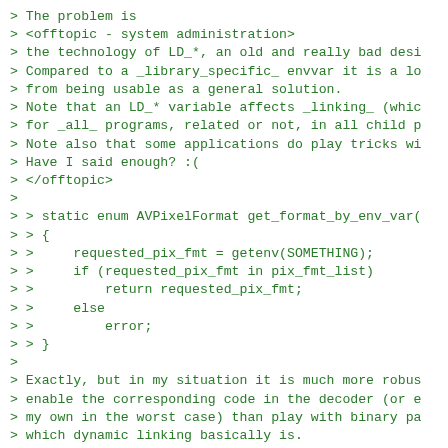> The problem is
> <offtopic - system administration>
> the technology of LD_*, an old and really bad desi
> Compared to a _library_specific_ envvar it is a lo
> from being usable as a general solution.
> Note that an LD_* variable affects _linking_ (whic
> for _all_ programs, related or not, in all child p
> Note also that some applications do play tricks wi
> Have I said enough? :(
> </offtopic>
>
> > static enum AVPixelFormat get_format_by_env_var(
> > {
> >     requested_pix_fmt = getenv(SOMETHING);
> >     if (requested_pix_fmt in pix_fmt_list)
> >         return requested_pix_fmt;
> >     else
> >         error;
> > }
>
> Exactly, but in my situation it is much more robus
> enable the corresponding code in the decoder (or e
> my own in the worst case) than play with binary pa
> which dynamic linking basically is.
>
> So instead of forcing the possible fellow sysadmin
> to patch, it would we nice to just let them build 
> this slightly non-standard (and pretty safe) behav
>
> > and LD_PRELOAD it into the application to achiev
>